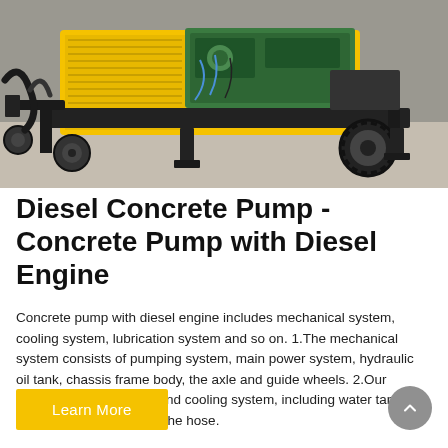[Figure (photo): A yellow diesel concrete pump on a wheeled trailer frame, with a green diesel engine visible on top, photographed indoors on a concrete floor.]
Diesel Concrete Pump - Concrete Pump with Diesel Engine
Concrete pump with diesel engine includes mechanical system, cooling system, lubrication system and so on. 1.The mechanical system consists of pumping system, main power system, hydraulic oil tank, chassis frame body, the axle and guide wheels. 2.Our cooling system adopts wind cooling system, including water tank, hydraulic motor, fan and the hose.